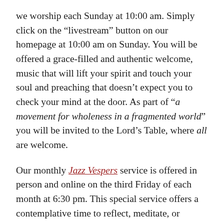we worship each Sunday at 10:00 am. Simply click on the “livestream” button on our homepage at 10:00 am on Sunday. You will be offered a grace-filled and authentic welcome, music that will lift your spirit and touch your soul and preaching that doesn’t expect you to check your mind at the door. As part of “a movement for wholeness in a fragmented world” you will be invited to the Lord’s Table, where all are welcome.
Our monthly Jazz Vespers service is offered in person and online on the third Friday of each month at 6:30 pm. This special service offers a contemplative time to reflect, meditate, or simply “be” as you listen to the music and poetry, and experience the authentic warmth of a faith community that gently welcomes ALL.